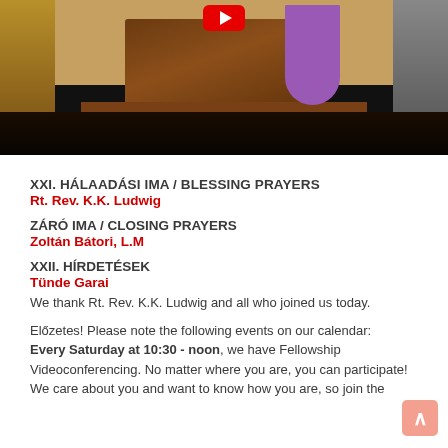[Figure (photo): Church interior photo showing a wooden pulpit/altar area with steps, a purple cloth draped on the right side, dark wooden paneling, and a red YouTube play button overlay at the top center. The floor area is dark.]
XXI. HÁLAADÁSI IMA / BLESSING PRAYERS
Rt. Rev. K.K. Ludwig
ZÁRÓ IMA / CLOSING PRAYERS
Zoltán Bátori, L.M
XXII. HÍRDETÉSEK
Tünde Garai
We thank Rt. Rev. K.K. Ludwig and all who joined us today.
Előzetes! Please note the following events on our calendar: Every Saturday at 10:30 - noon, we have Fellowship Videoconferencing. No matter where you are, you can participate! We care about you and want to know how you are, so join the